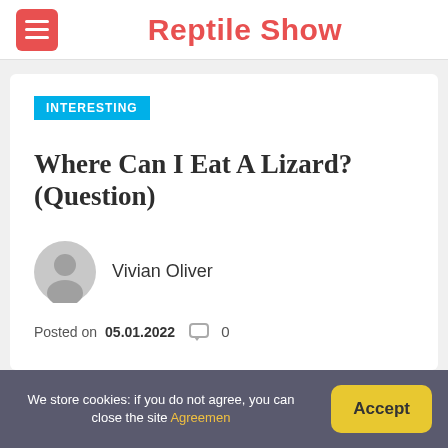Reptile Show
INTERESTING
Where Can I Eat A Lizard? (Question)
Vivian Oliver
Posted on 05.01.2022  0
We store cookies: if you do not agree, you can close the site Agreemen